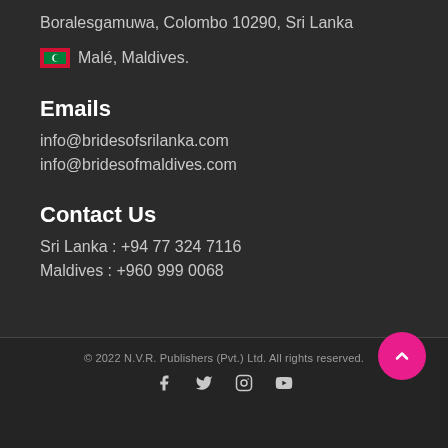Boralesgamuwa, Colombo 10290, Sri Lanka
Malé, Maldives.
Emails
info@bridesofsrilanka.com
info@bridesofmaldives.com
Contact Us
Sri Lanka : +94 77 324 7116
Maldives : +960 999 0068
© 2022 N.V.R. Publishers (Pvt.) Ltd. All rights reserved.